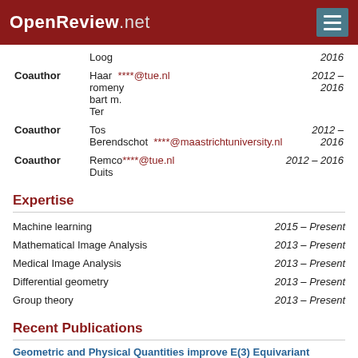OpenReview.net
| Role | Name/Email | Date |
| --- | --- | --- |
|  | Loog | 2016 |
| Coauthor | Haarromeny bart m. Ter  ****@tue.nl | 2012 – 2016 |
| Coauthor | Tos Berendschot  ****@maastrichtuniversity.nl | 2012 – 2016 |
| Coauthor | Remco Duits  ****@tue.nl | 2012 – 2016 |
Expertise
Machine learning  2015 – Present
Mathematical Image Analysis  2013 – Present
Medical Image Analysis  2013 – Present
Differential geometry  2013 – Present
Group theory  2013 – Present
Recent Publications
Geometric and Physical Quantities improve E(3) Equivariant Message Passing